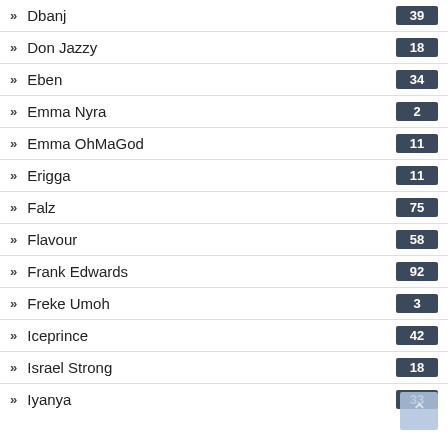Dbanj 39
Don Jazzy 18
Eben 34
Emma Nyra 2
Emma OhMaGod 11
Erigga 11
Falz 75
Flavour 58
Frank Edwards 92
Freke Umoh 3
Iceprince 42
Israel Strong 18
Iyanya 33